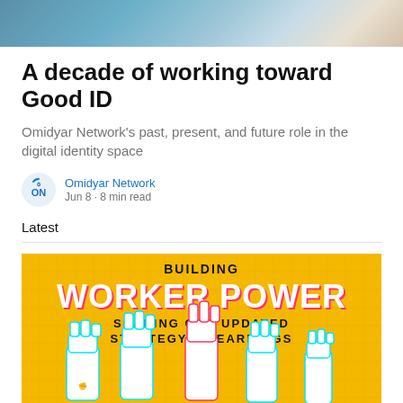[Figure (photo): Top banner photo showing people, blurred/cropped]
A decade of working toward Good ID
Omidyar Network's past, present, and future role in the digital identity space
Omidyar Network
Jun 8 · 8 min read
Latest
[Figure (illustration): Yellow banner graphic reading BUILDING WORKER POWER SHARING OUR UPDATED STRATEGY & LEARNINGS with illustrated raised fists]